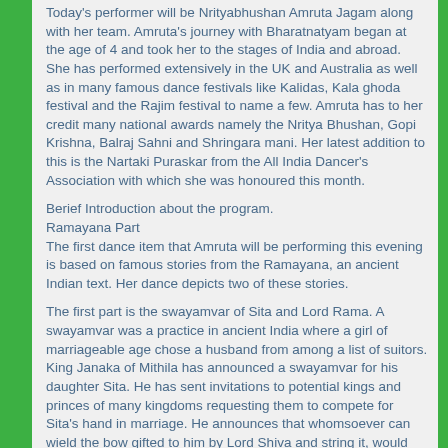Today's performer will be Nrityabhushan Amruta Jagam along with her team. Amruta's journey with Bharatnatyam began at the age of 4 and took her to the stages of India and abroad. She has performed extensively in the UK and Australia as well as in many famous dance festivals like Kalidas, Kala ghoda festival and the Rajim festival to name a few. Amruta has to her credit many national awards namely the Nritya Bhushan, Gopi Krishna, Balraj Sahni and Shringara mani. Her latest addition to this is the Nartaki Puraskar from the All India Dancer's Association with which she was honoured this month.
Berief Introduction about the program.
Ramayana Part
The first dance item that Amruta will be performing this evening is based on famous stories from the Ramayana, an ancient Indian text. Her dance depicts two of these stories.
The first part is the swayamvar of Sita and Lord Rama. A swayamvar was a practice in ancient India where a girl of marriageable age chose a husband from among a list of suitors. King Janaka of Mithila has announced a swayamvar for his daughter Sita. He has sent invitations to potential kings and princes of many kingdoms requesting them to compete for Sita's hand in marriage. He announces that whomsoever can wield the bow gifted to him by Lord Shiva and string it, would marry Sita.
Ravana, the demon king of Lanka tries to life the bow, first with his little fingers and then with both